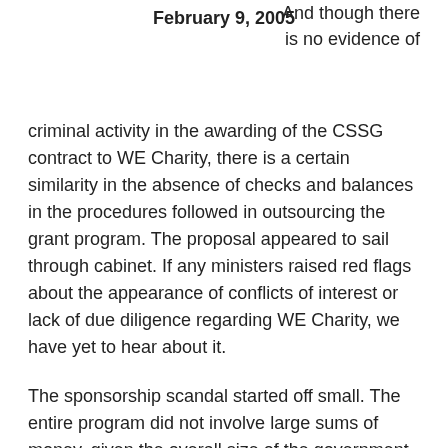February 9, 2005
And though there is no evidence of criminal activity in the awarding of the CSSG contract to WE Charity, there is a certain similarity in the absence of checks and balances in the procedures followed in outsourcing the grant program. The proposal appeared to sail through cabinet. If any ministers raised red flags about the appearance of conflicts of interest or lack of due diligence regarding WE Charity, we have yet to hear about it.
The sponsorship scandal started off small. The entire program did not involve large sums of money, given the overall size of the government. The program was peripheral to Ottawa’s primary missions, which made it seem kind of innocuous at first.